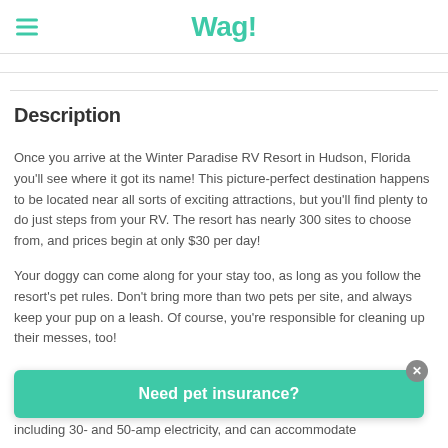Wag!
Description
Once you arrive at the Winter Paradise RV Resort in Hudson, Florida you'll see where it got its name! This picture-perfect destination happens to be located near all sorts of exciting attractions, but you'll find plenty to do just steps from your RV. The resort has nearly 300 sites to choose from, and prices begin at only $30 per day!
Your doggy can come along for your stay too, as long as you follow the resort's pet rules. Don't bring more than two pets per site, and always keep your pup on a leash. Of course, you're responsible for cleaning up their messes, too!
Need pet insurance?
including 30- and 50-amp electricity, and can accommodate